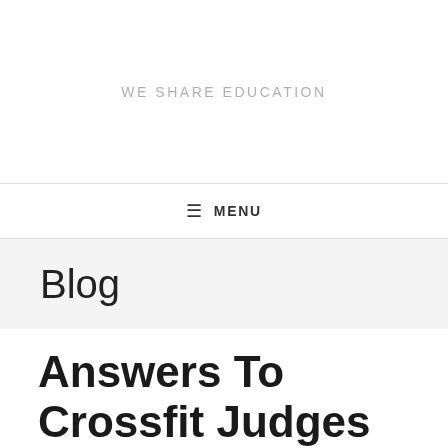WE SHARE EDUCATION
≡ MENU
Blog
Answers To Crossfit Judges Course 2022